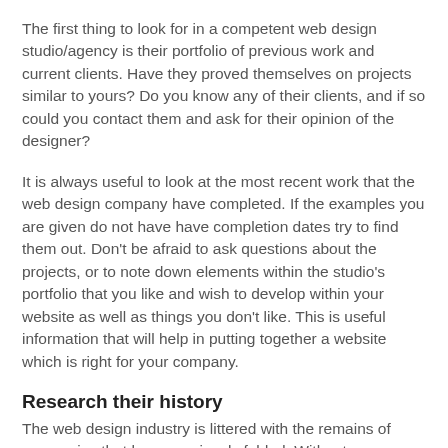The first thing to look for in a competent web design studio/agency is their portfolio of previous work and current clients. Have they proved themselves on projects similar to yours? Do you know any of their clients, and if so could you contact them and ask for their opinion of the designer?
It is always useful to look at the most recent work that the web design company have completed. If the examples you are given do not have have completion dates try to find them out. Don't be afraid to ask questions about the projects, or to note down elements within the studio's portfolio that you like and wish to develop within your website as well as things you don't like. This is useful information that will help in putting together a website which is right for your company.
Research their history
The web design industry is littered with the remains of companies that have previously folded. Without pontificating on the reasons why this may happen, it's safe to say that if you choose a web design partner that disappears after your website is launched you could have a big job on your hands